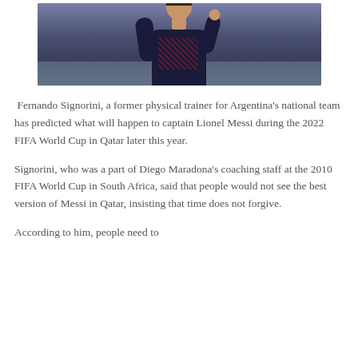[Figure (photo): A football player (Lionel Messi) in a dark navy PSG training jersey, partially visible from waist up, with crowd/stadium background visible behind him]
Fernando Signorini, a former physical trainer for Argentina's national team has predicted what will happen to captain Lionel Messi during the 2022 FIFA World Cup in Qatar later this year.
Signorini, who was a part of Diego Maradona's coaching staff at the 2010 FIFA World Cup in South Africa, said that people would not see the best version of Messi in Qatar, insisting that time does not forgive.
According to him, people need to